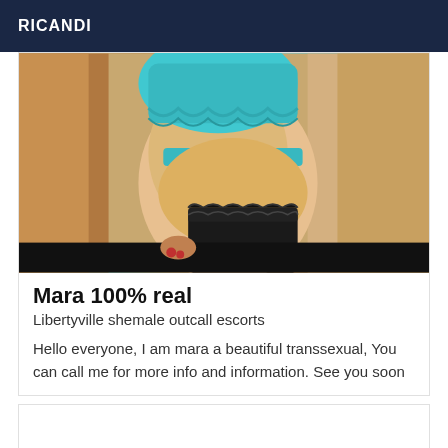RICANDI
[Figure (photo): A person wearing a teal/turquoise ruffled top and black lace stockings, seated on a beige couch, cropped mid-body view.]
Mara 100% real
Libertyville shemale outcall escorts
Hello everyone, I am mara a beautiful transsexual, You can call me for more info and information. See you soon